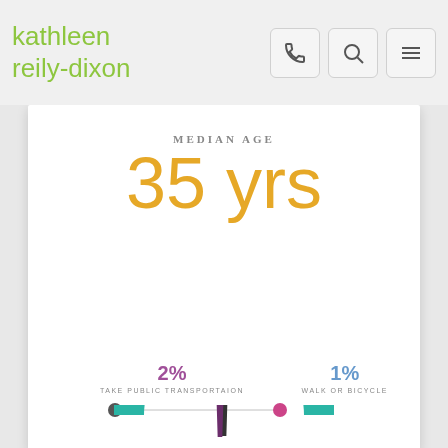kathleen reily-dixon
MEDIAN AGE
35 yrs
2%
TAKE PUBLIC TRANSPORTAION
1%
WALK OR BICYCLE
[Figure (donut-chart): Partial donut chart showing transportation mode breakdown, with teal/dark segments visible at bottom of page. 2% take public transportation, 1% walk or bicycle.]